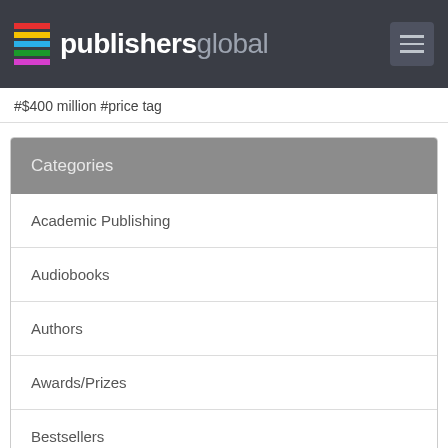publishersglobal
#$400 million #price tag
Categories
Academic Publishing
Audiobooks
Authors
Awards/Prizes
Bestsellers
Book Stores